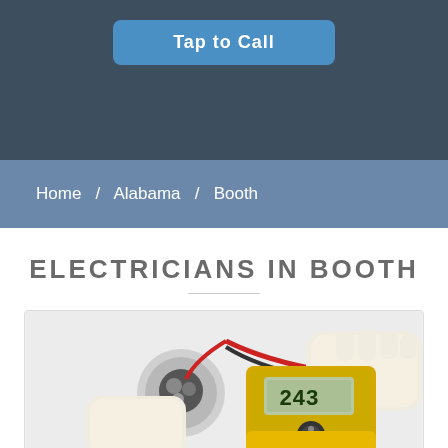[Figure (other): Blue button with text 'Tap to Call' on dark hero background]
Home / Alabama / Booth
ELECTRICIANS IN BOOTH
[Figure (photo): Photo of a gloved electrician's hand using a yellow multimeter (reading 243) on an electrical outlet/junction box]